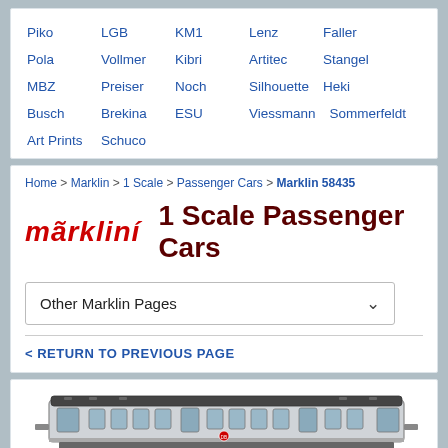Piko  LGB  KM1  Lenz  Faller  Pola  Vollmer  Kibri  Artitec  Stangel  MBZ  Preiser  Noch  Silhouette  Heki  Busch  Brekina  ESU  Viessmann  Sommerfeldt  Art Prints  Schuco
Home > Marklin > 1 Scale > Passenger Cars > Marklin 58435
märklin  1 Scale Passenger Cars
Other Marklin Pages
< RETURN TO PREVIOUS PAGE
[Figure (illustration): Model train passenger car illustration, a silver/grey DB passenger railcar shown in side profile]